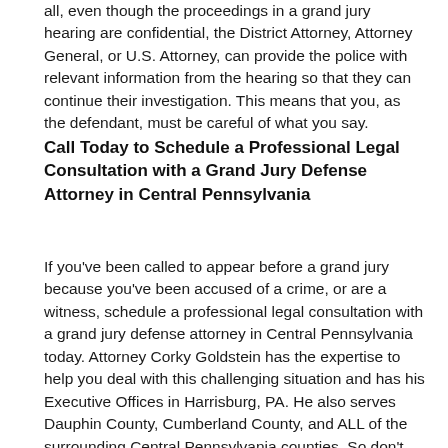all, even though the proceedings in a grand jury hearing are confidential, the District Attorney, Attorney General, or U.S. Attorney, can provide the police with relevant information from the hearing so that they can continue their investigation. This means that you, as the defendant, must be careful of what you say.
Call Today to Schedule a Professional Legal Consultation with a Grand Jury Defense Attorney in Central Pennsylvania
If you've been called to appear before a grand jury because you've been accused of a crime, or are a witness, schedule a professional legal consultation with a grand jury defense attorney in Central Pennsylvania today. Attorney Corky Goldstein has the expertise to help you deal with this challenging situation and has his Executive Offices in Harrisburg, PA. He also serves Dauphin County, Cumberland County, and ALL of the surrounding Central Pennsylvania counties. So don't wait and call 717-991-5919 (Use Direct Line) for the advocate you desperately need.